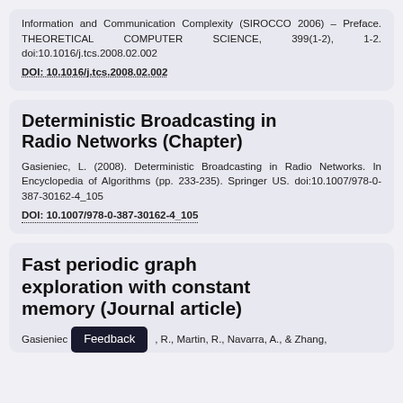Information and Communication Complexity (SIROCCO 2006) – Preface. THEORETICAL COMPUTER SCIENCE, 399(1-2), 1-2. doi:10.1016/j.tcs.2008.02.002
DOI: 10.1016/j.tcs.2008.02.002
Deterministic Broadcasting in Radio Networks (Chapter)
Gasieniec, L. (2008). Deterministic Broadcasting in Radio Networks. In Encyclopedia of Algorithms (pp. 233-235). Springer US. doi:10.1007/978-0-387-30162-4_105
DOI: 10.1007/978-0-387-30162-4_105
Fast periodic graph exploration with constant memory (Journal article)
Gasieniec, R., Martin, R., Navarra, A., & Zhang,